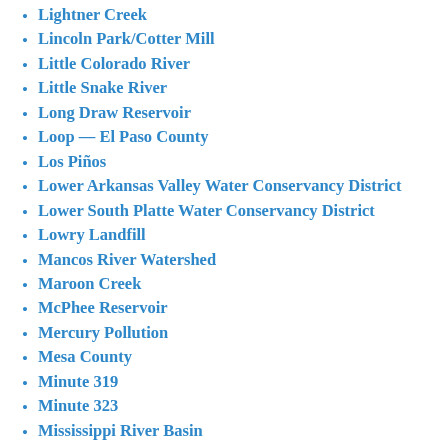Lightner Creek
Lincoln Park/Cotter Mill
Little Colorado River
Little Snake River
Long Draw Reservoir
Loop — El Paso County
Los Piños
Lower Arkansas Valley Water Conservancy District
Lower South Platte Water Conservancy District
Lowry Landfill
Mancos River Watershed
Maroon Creek
McPhee Reservoir
Mercury Pollution
Mesa County
Minute 319
Minute 323
Mississippi River Basin
Missouri River Basin
Missouri River Reuse Project
Montezuma County
Montrose
Monument Lake
Morgan County
National Western Center